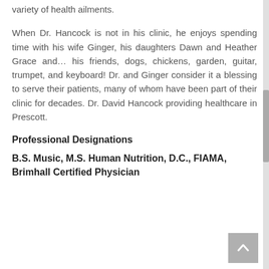variety of health ailments.
When Dr. Hancock is not in his clinic, he enjoys spending time with his wife Ginger, his daughters Dawn and Heather Grace and… his friends, dogs, chickens, garden, guitar, trumpet, and keyboard! Dr. and Ginger consider it a blessing to serve their patients, many of whom have been part of their clinic for decades. Dr. David Hancock providing healthcare in Prescott.
Professional Designations
B.S. Music, M.S. Human Nutrition, D.C., FIAMA, Brimhall Certified Physician